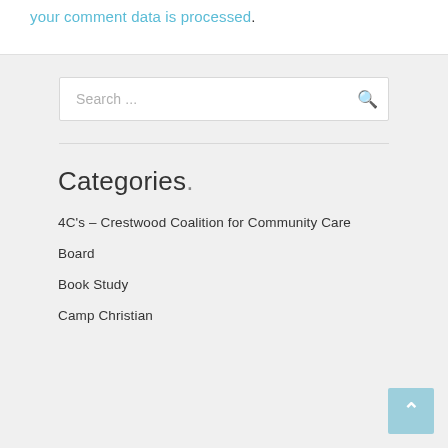your comment data is processed.
Search ...
Categories.
4C's – Crestwood Coalition for Community Care
Board
Book Study
Camp Christian